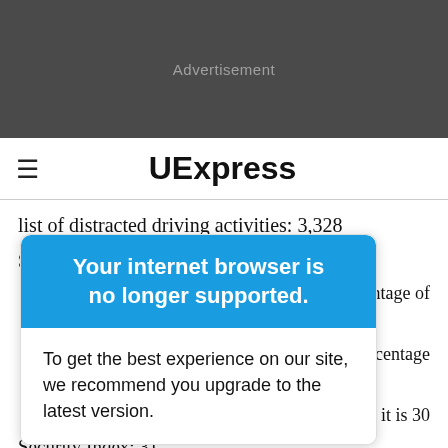[Figure (other): Dark gray advertisement banner with 'Advertisement' text in gray]
≡  UExpress
list of distracted driving activities: 3,328
Source: DMEautomotive.
percentage of
g, percentage
hat it is 30
y Financial
[Figure (screenshot): Browser upgrade popup overlay with blue header 'Your internet browser is no longer supported.' and white body 'To get the best experience on our site, we recommend you upgrade to the latest version.']
Security Index: 31